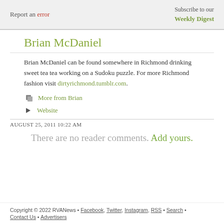Report an error | Subscribe to our Weekly Digest
Brian McDaniel
Brian McDaniel can be found somewhere in Richmond drinking sweet tea tea working on a Sudoku puzzle. For more Richmond fashion visit dirtyrichmond.tumblr.com.
More from Brian
Website
AUGUST 25, 2011 10:22 AM
There are no reader comments. Add yours.
Copyright © 2022 RVANews • Facebook, Twitter, Instagram, RSS • Search • Contact Us • Advertisers